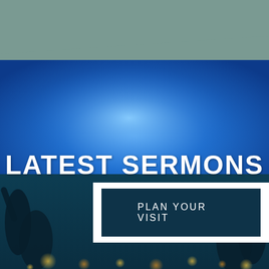[Figure (photo): Background church/worship scene with blue-lit stage in upper portion (bright blue gradient lighting) and darker teal overlay in lower portion, with blurred bokeh lights at the very bottom. Upper top portion has muted sage/teal solid color.]
LATEST SERMONS
PLAN YOUR VISIT